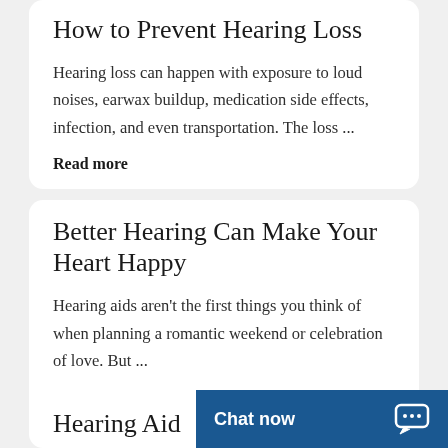How to Prevent Hearing Loss
Hearing loss can happen with exposure to loud noises, earwax buildup, medication side effects, infection, and even transportation. The loss ...
Read more
Better Hearing Can Make Your Heart Happy
Hearing aids aren't the first things you think of when planning a romantic weekend or celebration of love. But ...
Read more
Hearing Aid